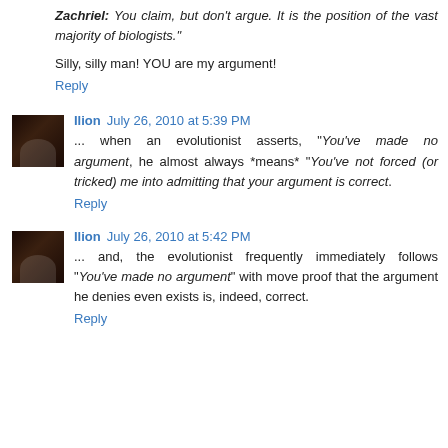Zachriel: You claim, but don't argue. It is the position of the vast majority of biologists."
Silly, silly man! YOU are my argument!
Reply
Ilion July 26, 2010 at 5:39 PM
... when an evolutionist asserts, "You've made no argument, he almost always *means* "You've not forced (or tricked) me into admitting that your argument is correct.
Reply
Ilion July 26, 2010 at 5:42 PM
... and, the evolutionist frequently immediately follows "You've made no argument" with move proof that the argument he denies even exists is, indeed, correct.
Reply